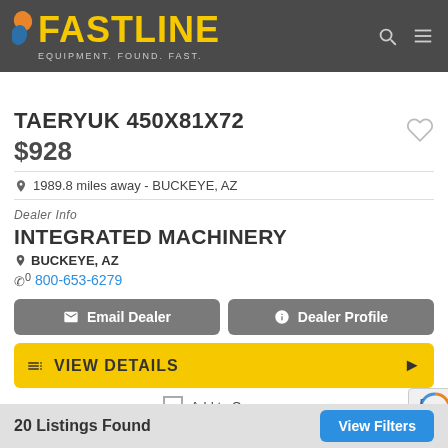FASTLINE — EQUIPMENT. FOUND. FAST.
TAERYUK 450X81X72
$928
1989.8 miles away - BUCKEYE, AZ
Dealer Info
INTEGRATED MACHINERY
BUCKEYE, AZ
800-653-6279
Email Dealer
Dealer Profile
VIEW DETAILS
Add to Compare
20 Listings Found  View Filters